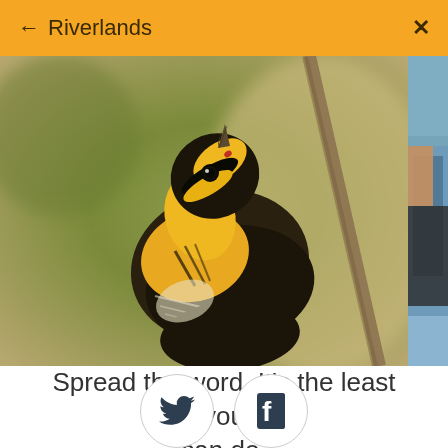← Riverlands ✕
[Figure (photo): Close-up photograph of a black-and-yellow warbler bird perched on a branch, looking upward. The bird has bright yellow and black striped plumage. A partial second photo is visible on the right edge showing a person outdoors.]
Spread the word. It's the least you can do.
[Figure (infographic): Two circular social sharing buttons: Twitter bird icon and Facebook 'f' icon, both dark colored on white circles with light grey borders.]